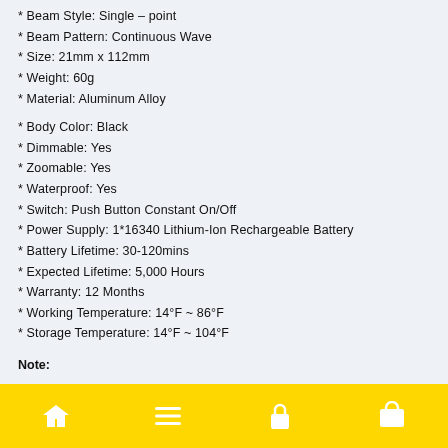* Beam Style: Single – point
* Beam Pattern: Continuous Wave
* Size: 21mm x 112mm
* Weight: 60g
* Material: Aluminum Alloy
* Body Color: Black
* Dimmable: Yes
* Zoomable: Yes
* Waterproof: Yes
* Switch: Push Button Constant On/Off
* Power Supply: 1*16340 Lithium-Ion Rechargeable Battery
* Battery Lifetime: 30-120mins
* Expected Lifetime: 5,000 Hours
* Warranty: 12 Months
* Working Temperature: 14°F ~ 86°F
* Storage Temperature: 14°F ~ 104°F
Note:
[navigation bar with home, menu, lock, cart icons]